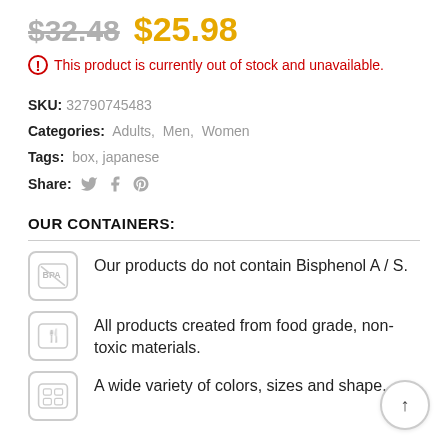$32.48 $25.98
⊙ This product is currently out of stock and unavailable.
SKU: 32790745483
Categories: Adults, Men, Women
Tags: box, japanese
Share: [twitter] [facebook] [pinterest]
OUR CONTAINERS:
Our products do not contain Bisphenol A / S.
All products created from food grade, non-toxic materials.
A wide variety of colors, sizes and shape...